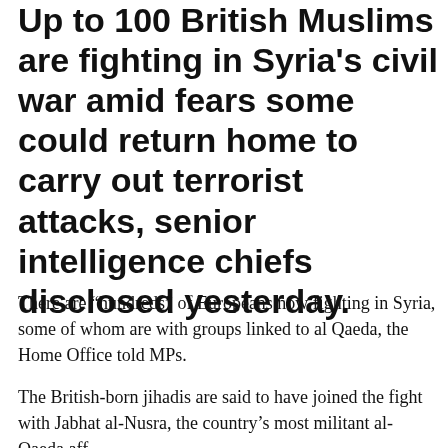Up to 100 British Muslims are fighting in Syria's civil war amid fears some could return home to carry out terrorist attacks, senior intelligence chiefs disclosed yesterday.
There are “hundreds” of Europeans now fighting in Syria, some of whom are with groups linked to al Qaeda, the Home Office told MPs.
The British-born jihadis are said to have joined the fight with Jabhat al-Nusra, the country’s most militant al-Qaeda aff...